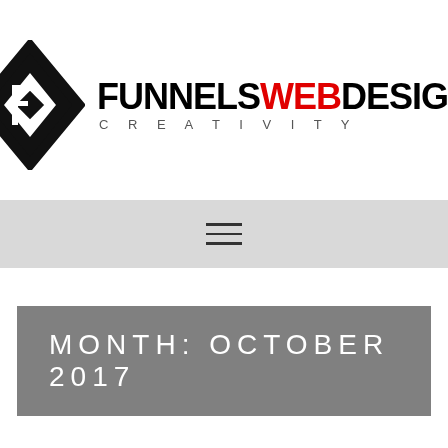[Figure (logo): FunnelsWebDesign logo: geometric diamond/square icon in black on the left, brand name FUNNELSWEBDESIGN (WEB in red) with CREATIVITY subtitle in grey letterspaced text]
[Figure (other): Hamburger menu icon (three horizontal lines) on a light grey navigation bar]
MONTH: OCTOBER 2017